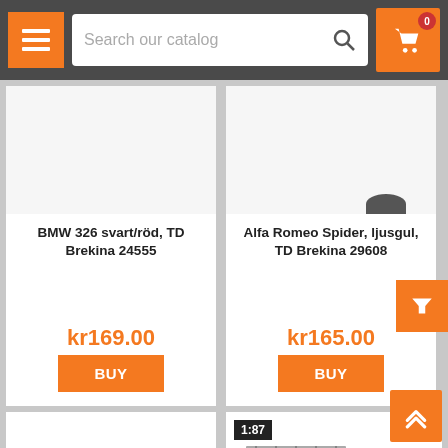Search our catalog
BMW 326 svart/röd, TD Brekina 24555
kr169.00
BUY
Alfa Romeo Spider, ljusgul, TD Brekina 29608
kr165.00
BUY
[Figure (screenshot): Bottom row: two product cards partially visible, each with 1:87 scale badge. Left card shows a yellow/orange model car. Right card shows a red fire truck model.]